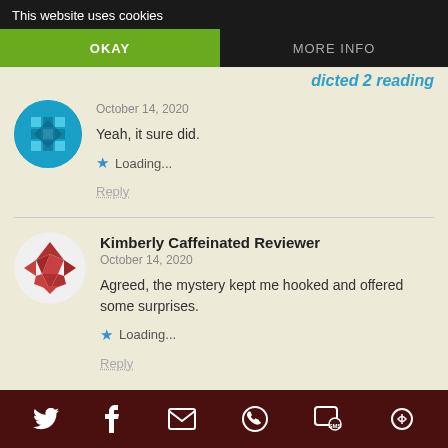This website uses cookies | OKAY | MORE INFO
October 14, 2020
Yeah, it sure did.
Loading...
Reply
Kimberly Caffeinated Reviewer
October 14, 2020
Agreed, the mystery kept me hooked and offered some surprises.
Loading...
Reply
Twitter | Facebook | Email | WhatsApp | SMS | Share